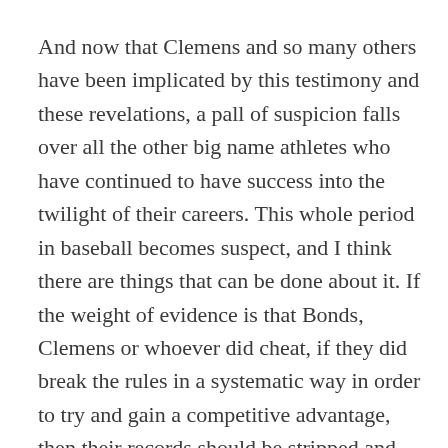And now that Clemens and so many others have been implicated by this testimony and these revelations, a pall of suspicion falls over all the other big name athletes who have continued to have success into the twilight of their careers. This whole period in baseball becomes suspect, and I think there are things that can be done about it. If the weight of evidence is that Bonds, Clemens or whoever did cheat, if they did break the rules in a systematic way in order to try and gain a competitive advantage, then their records should be stripped and the Hall of Fame denied to them. To those who say it's impossible to strip Bonds of, say, his home runs because